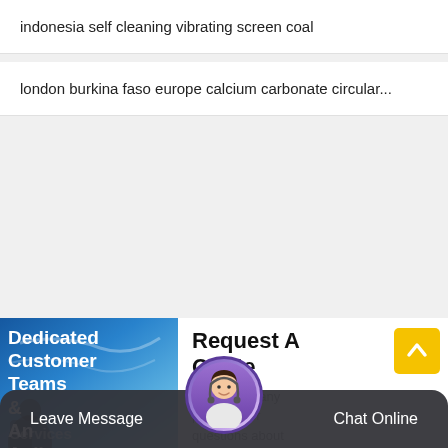indonesia self cleaning vibrating screen coal
london burkina faso europe calcium carbonate circular...
[Figure (photo): Blue sky background with a person in the lower left; white bold text reads 'Dedicated Customer Teams & An Agile Services' overlaid on the image]
Request A Quote
If you have any problems or questions about our products or
[Figure (illustration): Yellow button with upward chevron arrow (scroll-to-top button)]
[Figure (photo): Circular avatar of a female customer service agent wearing a headset, purple/violet background]
Leave Message   Chat Online